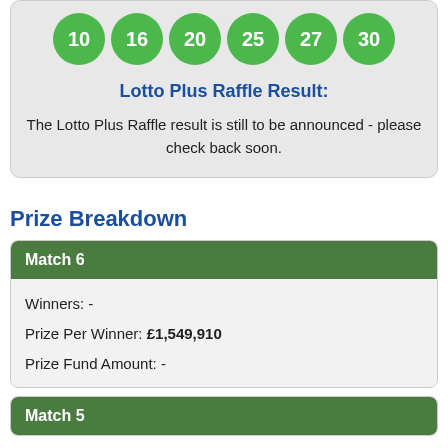[Figure (other): Six green lottery balls showing numbers 10, 16, 20, 25, 27, 30]
Lotto Plus Raffle Result:
The Lotto Plus Raffle result is still to be announced - please check back soon.
Prize Breakdown
| Match 6 |
| --- |
| Winners: - |
| Prize Per Winner: £1,549,910 |
| Prize Fund Amount: - |
| Match 5 |
| --- |